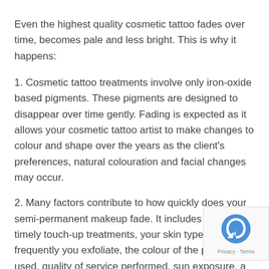Even the highest quality cosmetic tattoo fades over time, becomes pale and less bright. This is why it happens:
1. Cosmetic tattoo treatments involve only iron-oxide based pigments. These pigments are designed to disappear over time gently. Fading is expected as it allows your cosmetic tattoo artist to make changes to colour and shape over the years as the client's preferences, natural colouration and facial changes may occur.
2. Many factors contribute to how quickly does your semi-permanent makeup fade. It includes genetics, timely touch-up treatments, your skin type, how frequently you exfoliate, the colour of the pigment used, quality of service performed, sun exposure, and more.